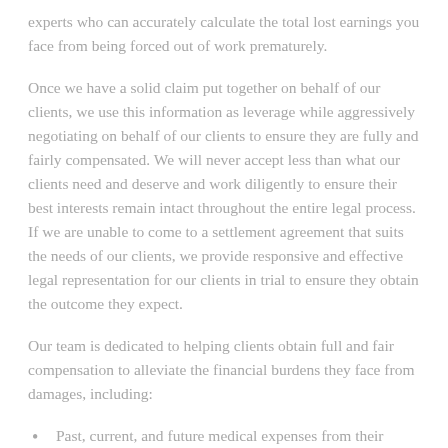experts who can accurately calculate the total lost earnings you face from being forced out of work prematurely.
Once we have a solid claim put together on behalf of our clients, we use this information as leverage while aggressively negotiating on behalf of our clients to ensure they are fully and fairly compensated. We will never accept less than what our clients need and deserve and work diligently to ensure their best interests remain intact throughout the entire legal process. If we are unable to come to a settlement agreement that suits the needs of our clients, we provide responsive and effective legal representation for our clients in trial to ensure they obtain the outcome they expect.
Our team is dedicated to helping clients obtain full and fair compensation to alleviate the financial burdens they face from damages, including:
Past, current, and future medical expenses from their accidents
Lost wages from having to take time off work for